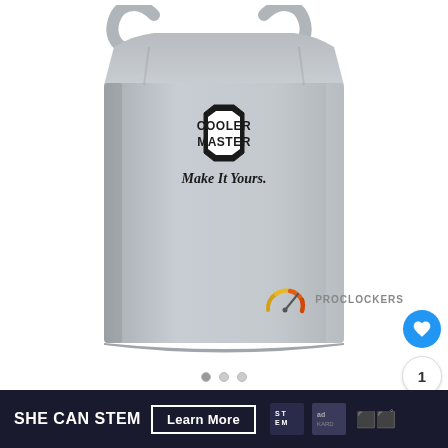[Figure (photo): A gray fabric tote/dust bag with the Cooler Master logo (shield-shaped emblem with COOLER MASTER text) and tagline 'Make It Yours.' printed on the front, photographed against a white background.]
PROCLOCKERS
SHE CAN STEM  Learn More